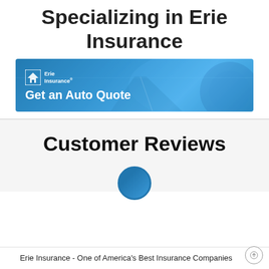Specializing in Erie Insurance
[Figure (illustration): Erie Insurance branded banner ad with blue background showing a road and a car wheel. Contains Erie Insurance logo and text 'Get an Auto Quote'.]
Customer Reviews
[Figure (illustration): Partial view of a blue circular avatar/profile image peeking from bottom of section.]
Erie Insurance - One of America's Best Insurance Companies